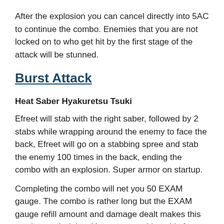After the explosion you can cancel directly into 5AC to continue the combo. Enemies that you are not locked on to who get hit by the first stage of the attack will be stunned.
Burst Attack
Heat Saber Hyakuretsu Tsuki
Efreet will stab with the right saber, followed by 2 stabs while wrapping around the enemy to face the back, Efreet will go on a stabbing spree and stab the enemy 100 times in the back, ending the combo with an explosion. Super armor on startup.
Completing the combo will net you 50 EXAM gauge. The combo is rather long but the EXAM gauge refill amount and damage dealt makes this combo worth doing. You can cancel into this from your AC dash, or simply do it raw for a high chance to hit.